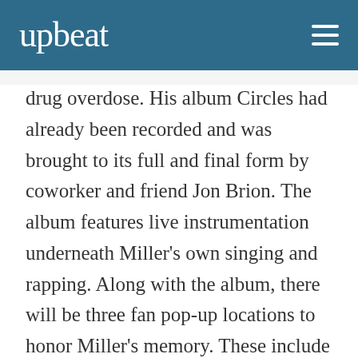upbeat
drug overdose. His album Circles had already been recorded and was brought to its full and final form by coworker and friend Jon Brion. The album features live instrumentation underneath Miller's own singing and rapping. Along with the album, there will be three fan pop-up locations to honor Miller's memory. These include Los Angeles, New York City, and Miller's hometown of Pittsburgh, PA.